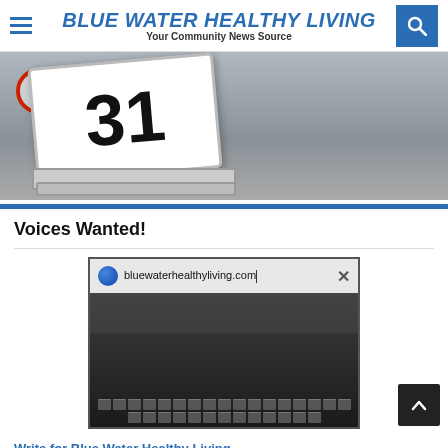BLUE WATER HEALTHY LIVING — Your Community News Source
[Figure (photo): Calendar or sign showing the number 31, partially cropped, with a red circle element visible on the left, metallic gray background]
Voices Wanted!
[Figure (screenshot): Browser thumbnail showing bluewaterhealthyliving.com in address bar, with hands typing on a keyboard in the background video frame]
Write for Blue Water Healthy Living
For more information, go to BWHL... Click Here...